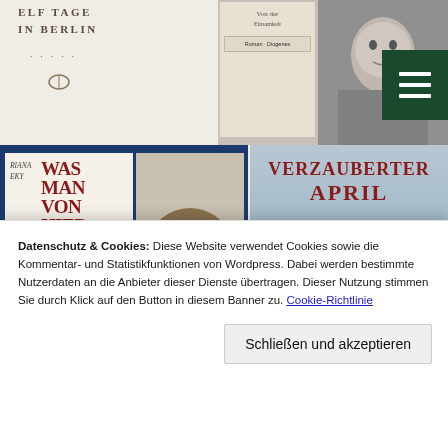[Figure (photo): Top-left area showing partial book cover text 'ELF TAGE IN BERLIN' on light beige background]
[Figure (photo): Top-right area showing partial book cover and black-and-white photo of a person]
[Figure (illustration): Dark green hamburger menu button icon in top-right corner]
[Figure (photo): Book cover 'Was man von hier aus sehen kann' by Mariana Leky with author photo, inside dark blue border]
[Figure (photo): Movie poster 'Verzauberter April' showing woman in wide-brim hat]
[Figure (photo): Bottom strip partially visible showing black-and-white person photo]
Datenschutz & Cookies: Diese Website verwendet Cookies sowie die Kommentar- und Statistikfunktionen von Wordpress. Dabei werden bestimmte Nutzerdaten an die Anbieter dieser Dienste übertragen. Dieser Nutzung stimmen Sie durch Klick auf den Button in diesem Banner zu. Cookie-Richtlinie
Schließen und akzeptieren